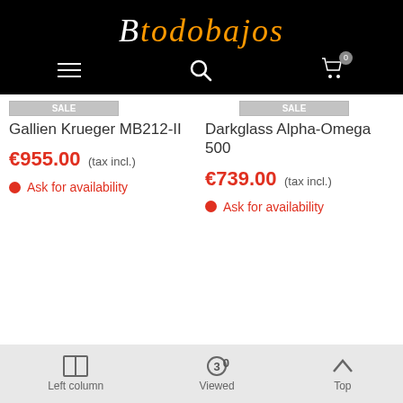Btodobajos
Gallien Krueger MB212-II
€955.00 (tax incl.)
Ask for availability
Darkglass Alpha-Omega 500
€739.00 (tax incl.)
Ask for availability
Left column   Viewed   Top